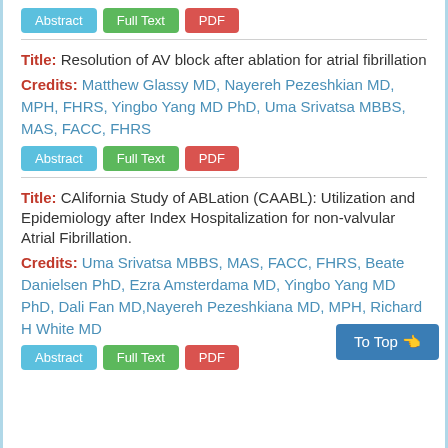Abstract | Full Text | PDF
Title: Resolution of AV block after ablation for atrial fibrillation
Credits: Matthew Glassy MD, Nayereh Pezeshkian MD, MPH, FHRS, Yingbo Yang MD PhD, Uma Srivatsa MBBS, MAS, FACC, FHRS
Abstract | Full Text | PDF
Title: CAlifornia Study of ABLation (CAABL): Utilization and Epidemiology after Index Hospitalization for non-valvular Atrial Fibrillation.
Credits: Uma Srivatsa MBBS, MAS, FACC, FHRS, Beate Danielsen PhD, Ezra Amsterdama MD, Yingbo Yang MD PhD, Dali Fan MD, Nayereh Pezeshkiana MD, MPH, Richard H White MD
Abstract | Full Text | PDF